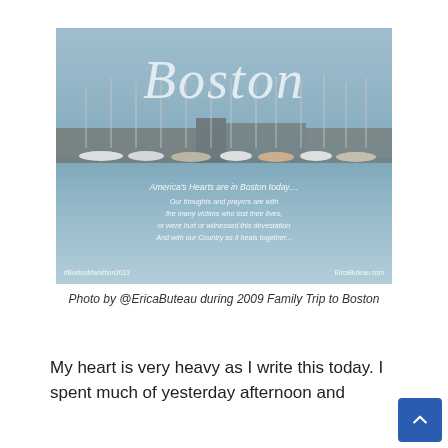[Figure (photo): Photo of Boston harbor with sailboats, overlaid with the word 'Boston' in large italic white text, and a text overlay reading 'America's Hearts are in Boston today... Our thoughts and prayers are with the many victims who lost their lives, or were hurt or witnessed this devestation. And with our Country as it heals together...' with #BostonMarathon2013 and EricaButeau.com]
Photo by @EricaButeau during 2009 Family Trip to Boston
My heart is very heavy as I write this today. I spent much of yesterday afternoon and